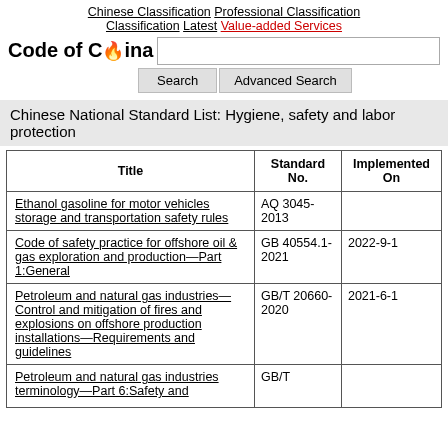Chinese Classification  Professional Classification  Classification  Latest  Value-added Services
[Figure (logo): Code of China logo with flame emoji and search bar with Search and Advanced Search buttons]
Chinese National Standard List: Hygiene, safety and labor protection
| Title | Standard No. | Implemented On |
| --- | --- | --- |
| Ethanol gasoline for motor vehicles storage and transportation safety rules | AQ 3045-2013 |  |
| Code of safety practice for offshore oil & gas exploration and production—Part 1:General | GB 40554.1-2021 | 2022-9-1 |
| Petroleum and natural gas industries—Control and mitigation of fires and explosions on offshore production installations—Requirements and guidelines | GB/T 20660-2020 | 2021-6-1 |
| Petroleum and natural gas industries terminology—Part 6:Safety and… | GB/T |  |